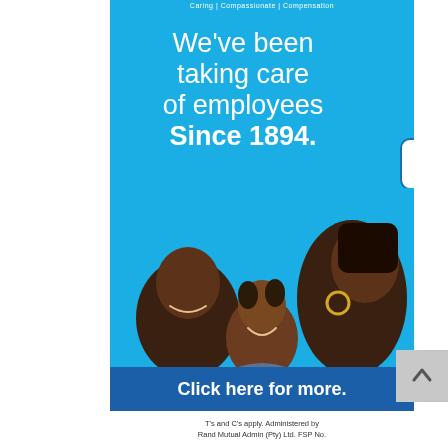Caring | Compassionate | Compensation
We've been taking care of employees Since 1894.
[Figure (photo): A smiling family — father, mother, and young child — photographed against a blue background. The parents are leaning toward the child who is smiling joyfully.]
Click here for more.
T's and C's apply. Administered by Rand Mutual Admin (Pty) Ltd. FSP No.